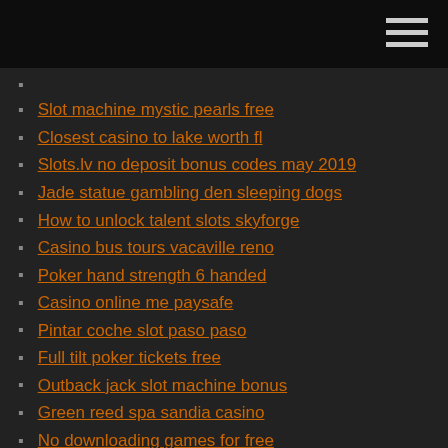Slot machine mystic pearls free
Closest casino to lake worth fl
Slots.lv no deposit bonus codes may 2019
Jade statue gambling den sleeping dogs
How to unlock talent slots skyforge
Casino bus tours vacaville reno
Poker hand strength 6 handed
Casino online me paysafe
Pintar coche slot paso paso
Full tilt poker tickets free
Outback jack slot machine bonus
Green reed spa sandia casino
No downloading games for free